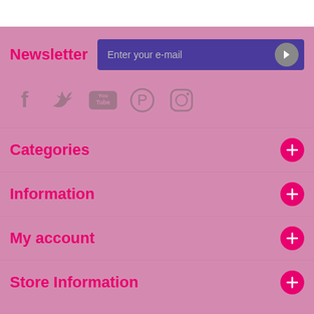Newsletter
Enter your e-mail
[Figure (infographic): Social media icons: Facebook, Twitter, YouTube, Pinterest, Instagram]
Categories
Information
My account
Store Information